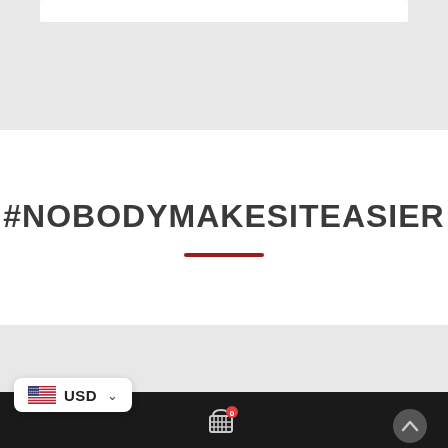#NOBODYMAKESITEASIER
[Figure (other): Red horizontal divider line below the hashtag title]
USD  Company  Resources